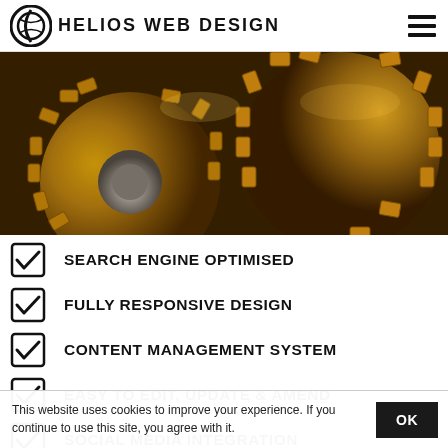HELIOS WEB DESIGN
[Figure (photo): Close-up photograph of golden/amber-colored industrial gears and cogs with oil sheen]
SEARCH ENGINE OPTIMISED
FULLY RESPONSIVE DESIGN
CONTENT MANAGEMENT SYSTEM
EASY TO EDIT, UPDATE & AMEND
SOCIAL MEDIA INTEGRATION
This website uses cookies to improve your experience. If you continue to use this site, you agree with it.